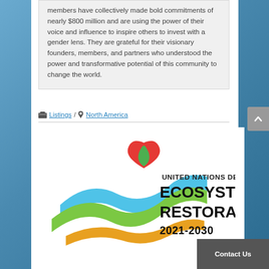members have collectively made bold commitments of nearly $800 million and are using the power of their voice and influence to inspire others to invest with a gender lens. They are grateful for their visionary founders, members, and partners who understood the power and transformative potential of this community to change the world.
Listings / North America
[Figure (logo): United Nations Decade on Ecosystem Restoration 2021-2030 logo with colorful wave shapes and a red heart/leaf icon]